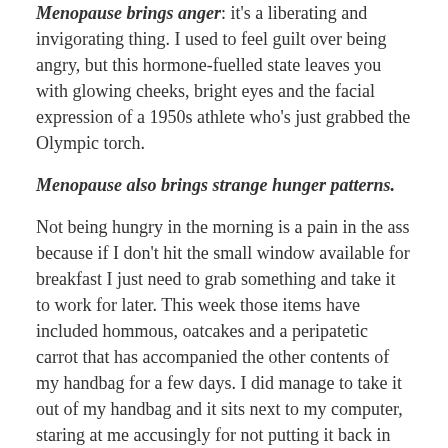Menopause brings anger: it's a liberating and invigorating thing. I used to feel guilt over being angry, but this hormone-fuelled state leaves you with glowing cheeks, bright eyes and the facial expression of a 1950s athlete who's just grabbed the Olympic torch.
Menopause also brings strange hunger patterns.
Not being hungry in the morning is a pain in the ass because if I don't hit the small window available for breakfast I just need to grab something and take it to work for later. This week those items have included hommous, oatcakes and a peripatetic carrot that has accompanied the other contents of my handbag for a few days. I did manage to take it out of my handbag and it sits next to my computer, staring at me accusingly for not putting it back in the fridge. Don't know if I can now – after all it is possibly a used carrot and I can't put a used carrot back with the unused ones. However I haven't eaten it, so it's unused in that respect. It is merely a well travelled carrot, I suppose. As for the hommous and oatcakes, it must have been a